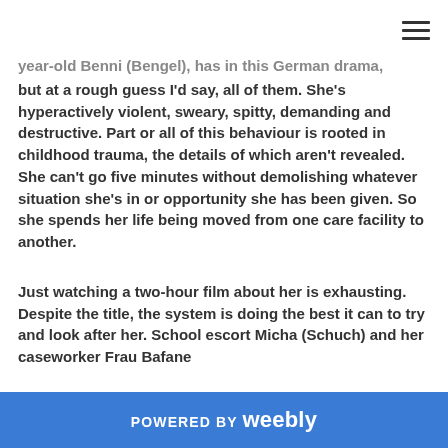≡
year-old Benni (Bengel), has in this German drama, but at a rough guess I'd say, all of them. She's hyperactively violent, sweary, spitty, demanding and destructive. Part or all of this behaviour is rooted in childhood trauma, the details of which aren't revealed. She can't go five minutes without demolishing whatever situation she's in or opportunity she has been given. So she spends her life being moved from one care facility to another.
Just watching a two-hour film about her is exhausting. Despite the title, the system is doing the best it can to try and look after her. School escort Micha (Schuch) and her caseworker Frau Bafane
POWERED BY weebly